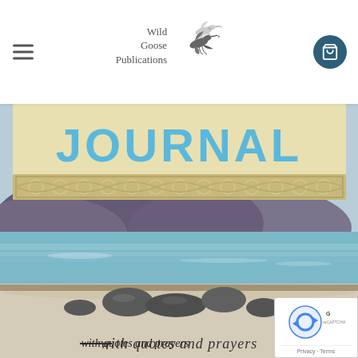[Figure (logo): Wild Goose Publications logo with flying goose bird illustration and text 'Wild Goose Publications']
[Figure (screenshot): Website screenshot showing a book cover with title 'JOURNAL' in large blue Celtic-style letters on a light yellow background, with a Celtic knotwork decorative border below. The background shows a coastal Scottish landscape with a sandy beach, turquoise sea, and dark mountains. Text at the bottom reads 'with quotes and prayers' in a handwritten-style font. A navigation header with hamburger menu, Wild Goose Publications logo, and a dark blue cart button are visible at the top. A reCAPTCHA privacy badge appears in the bottom right corner.]
with quotes and prayers